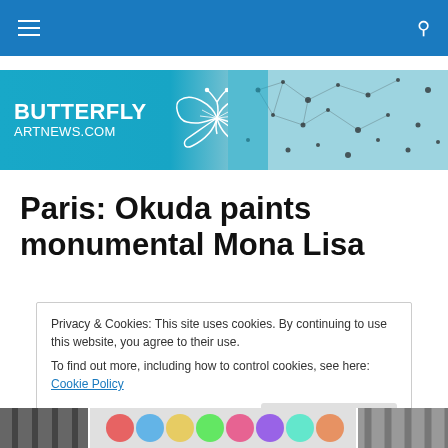Navigation bar with hamburger menu and search icon
[Figure (illustration): Butterfly Art News banner with logo text 'BUTTERFLY ARTNEWS.COM', a white outlined butterfly illustration, and abstract art with scattered dark marks on light background]
Paris: Okuda paints monumental Mona Lisa
Privacy & Cookies: This site uses cookies. By continuing to use this website, you agree to their use.
To find out more, including how to control cookies, see here: Cookie Policy
Close and accept
[Figure (photo): Bottom strip showing partial images: left dark architectural image, center colorful balloons/circles, right architectural stripes]